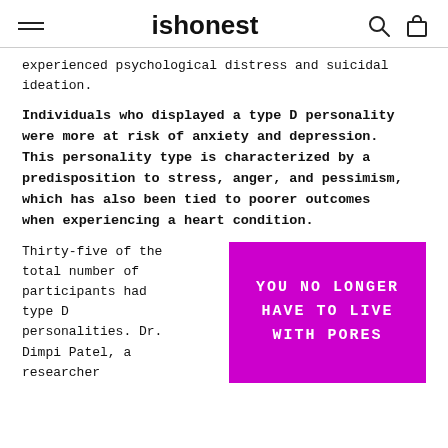ishonest
experienced psychological distress and suicidal ideation.
Individuals who displayed a type D personality were more at risk of anxiety and depression. This personality type is characterized by a predisposition to stress, anger, and pessimism, which has also been tied to poorer outcomes when experiencing a heart condition.
Thirty-five of the total number of participants had type D personalities. Dr. Dimpi Patel, a researcher
[Figure (infographic): Magenta/purple advertisement box with white bold monospace text reading: YOU NO LONGER HAVE TO LIVE WITH PORES]